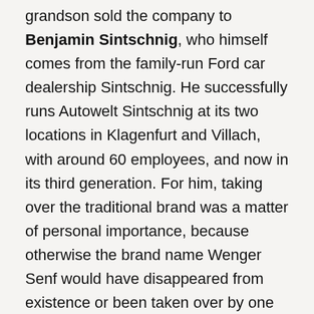grandson sold the company to Benjamin Sintschnig, who himself comes from the family-run Ford car dealership Sintschnig. He successfully runs Autowelt Sintschnig at its two locations in Klagenfurt and Villach, with around 60 employees, and now in its third generation. For him, taking over the traditional brand was a matter of personal importance, because otherwise the brand name Wenger Senf would have disappeared from existence or been taken over by one of the large mustard manufacturers, and lost its production concept that way.
Today the popular Wenger Senf is produced just as it was 130 years ago. Made by hand, of course, according to the old original recipes, always with the best ingredients...